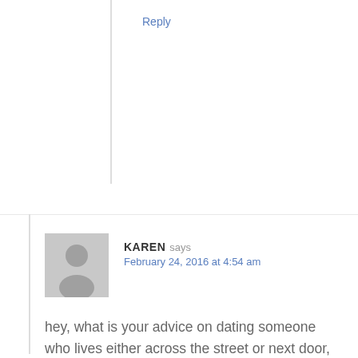Reply
KAREN says
February 24, 2016 at 4:54 am
hey, what is your advice on dating someone who lives either across the street or next door, oh so close all the time, a bit cautious about it, Any words of wisdom?
Reply